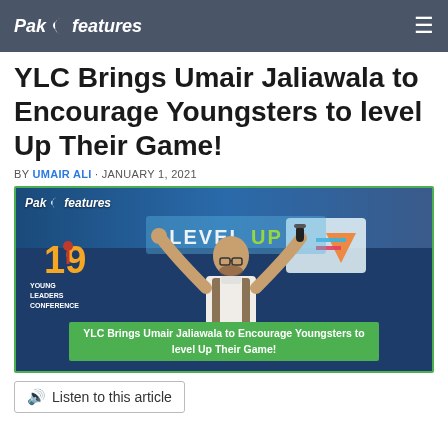Pak Features
YLC Brings Umair Jaliawala to Encourage Youngsters to level Up Their Game!
BY UMAIR ALI · JANUARY 1, 2021
[Figure (photo): Umair Jaliawala on stage at Young Leaders Conference (YLC), arms raised holding a microphone, with a green bordered overlay and caption reading 'YLC Brings Umair Jaliawala to Encourage Youngsters to level Up Their Game!' The image shows the Pak Features logo, a '19 Young Leaders Conference' badge, and a colorful 'Level Up' banner in the background.]
Listen to this article